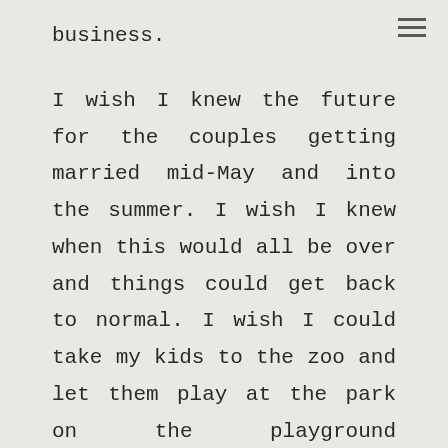business.
I wish I knew the future for the couples getting married mid-May and into the summer. I wish I knew when this would all be over and things could get back to normal. I wish I could take my kids to the zoo and let them play at the park on the playground equipment. I wish people I know weren't losing their jobs or being furloughed. I wish I didn't have to cancel all of my spring